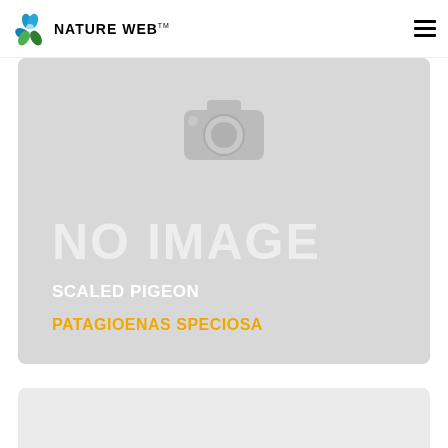NATURE WEB ™
[Figure (photo): No image placeholder card with camera icon graphic, showing 'NO IMAGE' text in large light letters. Below shows species common name 'SCALED PIGEON' in white and scientific name 'PATAGIOENAS SPECIOSA' in orange/yellow on a grey background.]
SCALED PIGEON
PATAGIOENAS SPECIOSA
[Figure (other): Bottom grey card, partially visible at bottom of page.]